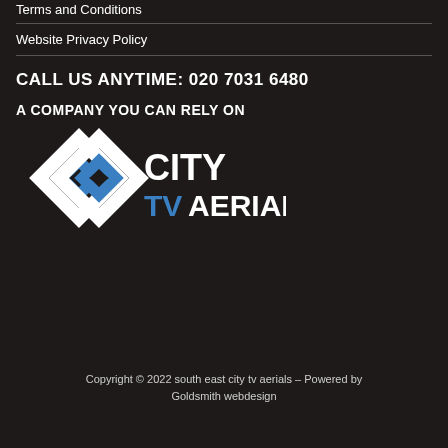Terms and Conditions
Website Privacy Policy
CALL US ANYTIME: 020 7031 6480
A COMPANY YOU CAN RELY ON
[Figure (logo): City TV Aerials logo — interlocking diamond/link shapes in white and blue, with 'CITY' in white uppercase and 'TV' in blue uppercase and 'AERIALS' in white uppercase]
Copyright © 2022 south east city tv aerials – Powered by Goldsmith webdesign